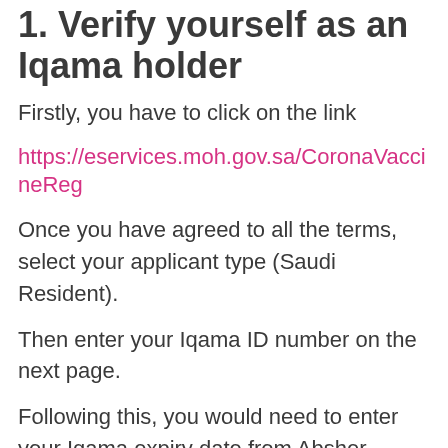1. Verify yourself as an Iqama holder
Firstly, you have to click on the link
https://eservices.moh.gov.sa/CoronaVaccineReg
Once you have agreed to all the terms, select your applicant type (Saudi Resident).
Then enter your Iqama ID number on the next page.
Following this, you would need to enter your Iqama expiry date from Absher.